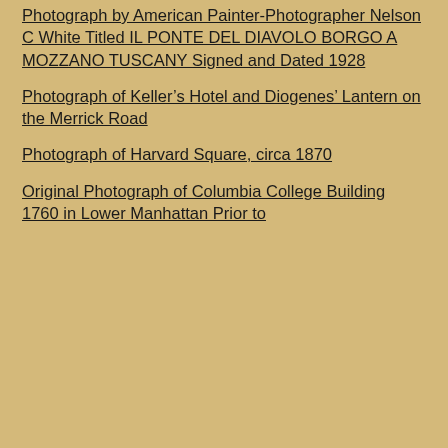Photograph by American Painter-Photographer Nelson C White Titled IL PONTE DEL DIAVOLO BORGO A MOZZANO TUSCANY Signed and Dated 1928
Photograph of Keller’s Hotel and Diogenes’ Lantern on the Merrick Road
Photograph of Harvard Square, circa 1870
Original Photograph of Columbia College Building 1760 in Lower Manhattan Prior to Demolition in 1857